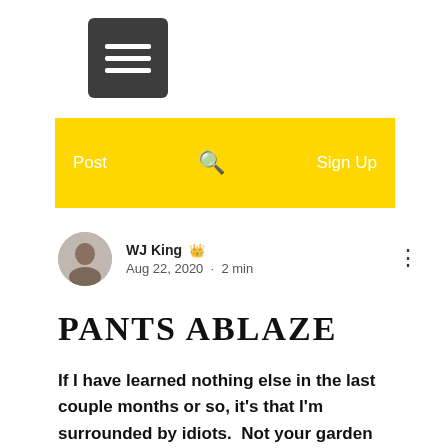[Figure (screenshot): Hamburger menu button (dark grey rounded square with three white horizontal bars)]
Post   🔍   Sign Up
WJ King 👑
Aug 22, 2020 · 2 min
PANTS ABLAZE
If I have learned nothing else in the last couple months or so, it's that I'm surrounded by idiots.  Not your garden variety imbeciles but the type so extreme, you put them on the porch to show them off.  The political wars of dumb versus dumber rage on.  Veracity doesn't simply take a back seat in the heated exchanges